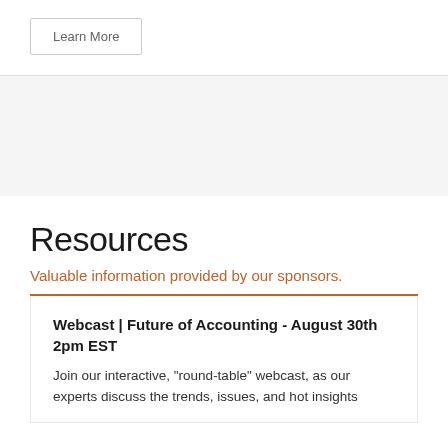Learn More
Resources
Valuable information provided by our sponsors.
Webcast | Future of Accounting - August 30th 2pm EST
Join our interactive, "round-table" webcast, as our experts discuss the trends, issues, and hot insights